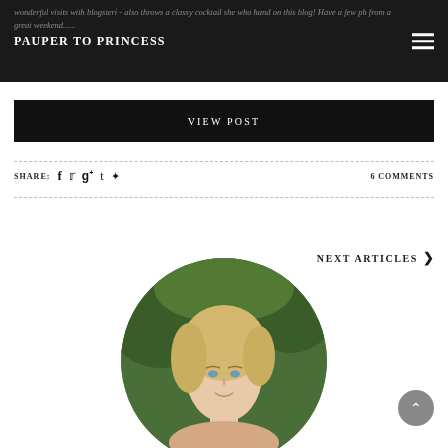PAUPER TO PRINCESS
VIEW POST
SHARE:  f  t  g+  t  p  |  6 COMMENTS
NEXT ARTICLES ›
[Figure (photo): Circular portrait photo of a blonde woman smiling, set against a green outdoor background]